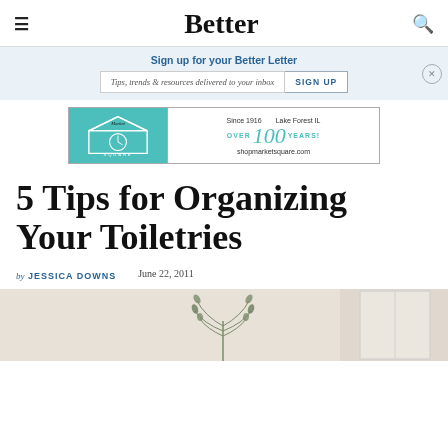Better
Sign up for your Better Letter
Tips, trends & resources delivered to your inbox  SIGN UP
[Figure (illustration): Market Square advertisement banner: Since 1916, Over 100 Years! Lake Forest IL, shopmarketsquare.com]
5 Tips for Organizing Your Toiletries
by JESSICA DOWNS   June 22, 2011
[Figure (photo): Bathroom interior photo with plant]